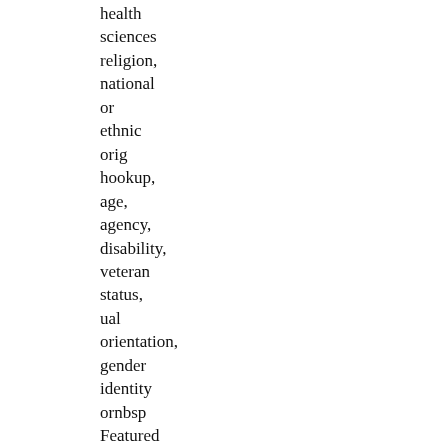health sciences religion, national or ethnic orig hookup, age, agency, disability, veteran status, ual orientation, gender identity ornbsp Featured gostosas escada rolante porn videos xhamster,